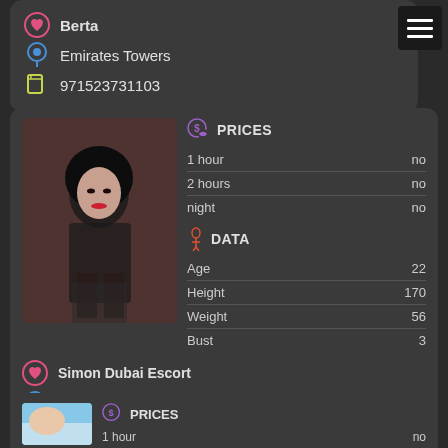Berta
Emirates Towers
971523731103
[Figure (photo): Woman in black outfit posing against brick wall background]
PRICES
|  |  |
| --- | --- |
| 1 hour | no |
| 2 hours | no |
| night | no |
DATA
|  |  |
| --- | --- |
| Age | 22 |
| Height | 170 |
| Weight | 56 |
| Bust | 3 |
Simon Dubai Escort
Al Jafiliya Station
971558944728
PRICES
1 hour    no